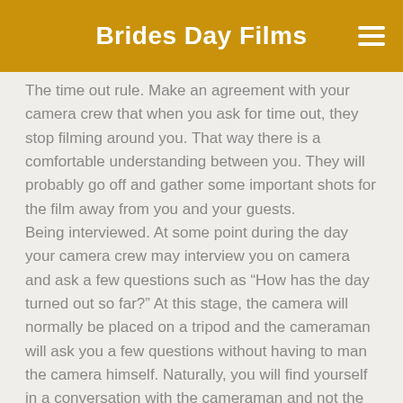Brides Day Films
The time out rule. Make an agreement with your camera crew that when you ask for time out, they stop filming around you. That way there is a comfortable understanding between you. They will probably go off and gather some important shots for the film away from you and your guests.
Being interviewed. At some point during the day your camera crew may interview you on camera and ask a few questions such as “How has the day turned out so far?” At this stage, the camera will normally be placed on a tripod and the cameraman will ask you a few questions without having to man the camera himself. Naturally, you will find yourself in a conversation with the cameraman and not the camera. This is normal practice for us and we find it works with a bride and groom that are